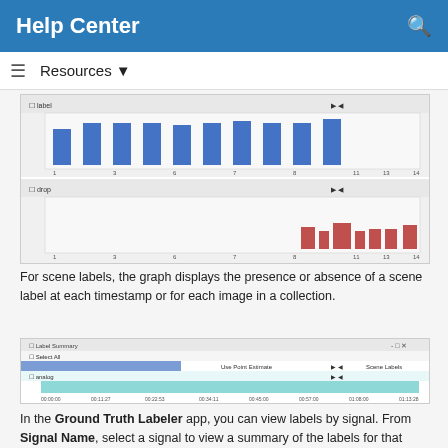Help Center
Resources ▾
[Figure (screenshot): Screenshot of a label summary chart showing two panels: a blue bar chart on top and an orange bar chart below, with x-axis timestamps from 1 to 14.]
For scene labels, the graph displays the presence or absence of a scene label at each timestamp or for each image in a collection.
[Figure (screenshot): Screenshot of a Label Summary window showing 'Scene Labels' section with a teal/cyan bar spanning across timestamps.]
In the Ground Truth Labeler app, you can view labels by signal. From Signal Name, select a signal to view a summary of the labels for that signal.